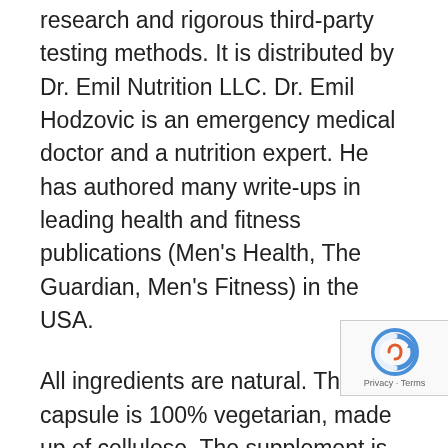research and rigorous third-party testing methods. It is distributed by Dr. Emil Nutrition LLC. Dr. Emil Hodzovic is an emergency medical doctor and a nutrition expert. He has authored many write-ups in leading health and fitness publications (Men's Health, The Guardian, Men's Fitness) in the USA.
All ingredients are natural. The capsule is 100% vegetarian, made up of cellulose. The supplement is gluten-free, vegan and does not contain fillers or additives. 3 per day the optimum dosage. The bottle contains 90 capsules. The product is non-GMO and